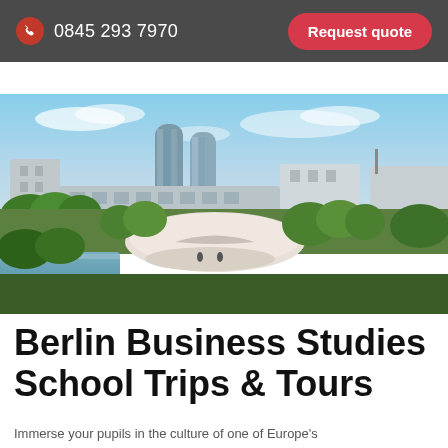0845 293 7970   Request quote
[Figure (photo): Aerial view of a modern Berlin business district with glass skyscrapers, a curved contemporary building, green trees, and a small waterway in the foreground under a partly cloudy sky.]
Berlin Business Studies School Trips & Tours
Immerse your pupils in the culture of one of Europe's